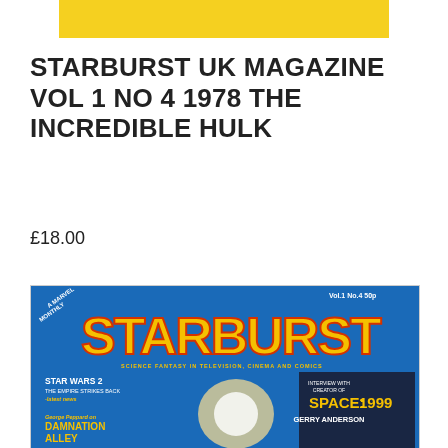[Figure (photo): Yellow banner/bar at top of page, partially visible]
STARBURST UK MAGAZINE VOL 1 NO 4 1978 THE INCREDIBLE HULK
£18.00
[Figure (photo): Cover of Starburst UK Magazine Vol.1 No.4, featuring STARBURST logo in yellow on blue background. Text reads: A Marvel Monthly, Vol.1 No.4 50p, SCIENCE FANTASY IN TELEVISION, CINEMA AND COMICS, STAR WARS 2 THE EMPIRE STRIKES BACK - latest news, George Peppard on DAMNATION ALLEY, INTERVIEW WITH CREATOR OF SPACE: 1999 GERRY ANDERSON]